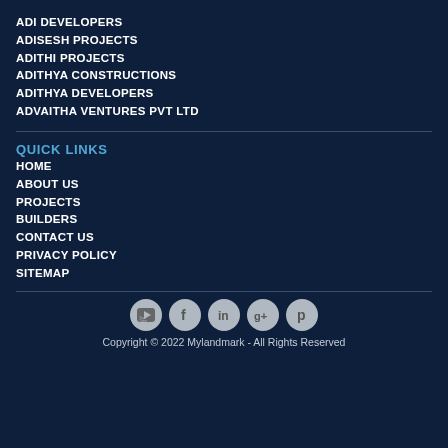ADI DEVELOPERS
ADISESH PROJECTS
ADITHI PROJECTS
ADITHYA CONSTRUCTIONS
ADITHYA DEVELOPERS
ADVAITHA VENTURES PVT LTD
QUICK LINKS
HOME
ABOUT US
PROJECTS
BUILDERS
CONTACT US
PRIVACY POLICY
SITEMAP
[Figure (illustration): Social media icons row: YouTube, Facebook, LinkedIn, Google+, Pinterest]
Copyright © 2022 Mylandmark - All Rights Reserved